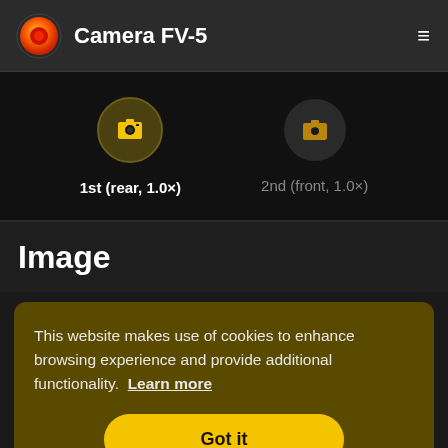Camera FV-5
[Figure (screenshot): Two camera selection icons: 1st (rear, 1.0x) with active highlighted circular background, and 2nd (front, 1.0x) in grey]
Image
This website makes use of cookies to enhance browsing experience and provide additional functionality. Learn more
Got it